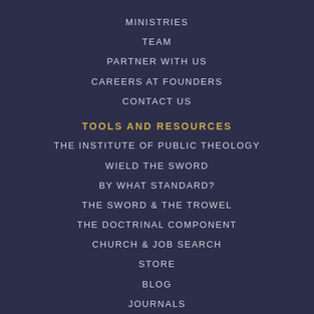MINISTRIES
TEAM
PARTNER WITH US
CAREERS AT FOUNDERS
CONTACT US
TOOLS AND RESOURCES
THE INSTITUTE OF PUBLIC THEOLOGY
WIELD THE SWORD
BY WHAT STANDARD?
THE SWORD & THE TROWEL
THE DOCTRINAL COMPONENT
CHURCH & JOB SEARCH
STORE
BLOG
JOURNALS